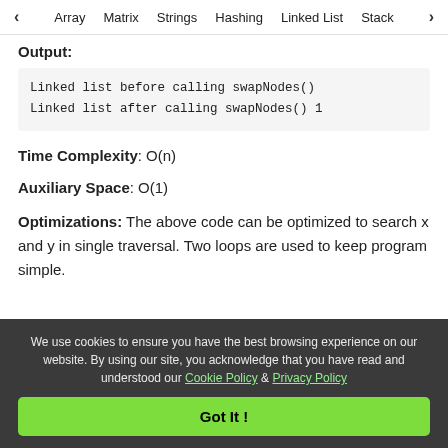< Array  Matrix  Strings  Hashing  Linked List  Stack >
Output:
Linked list before calling swapNodes()
Linked list after calling swapNodes() 1
Time Complexity: O(n)
Auxiliary Space: O(1)
Optimizations: The above code can be optimized to search x and y in single traversal. Two loops are used to keep program simple.
We use cookies to ensure you have the best browsing experience on our website. By using our site, you acknowledge that you have read and understood our Cookie Policy & Privacy Policy
Got It !